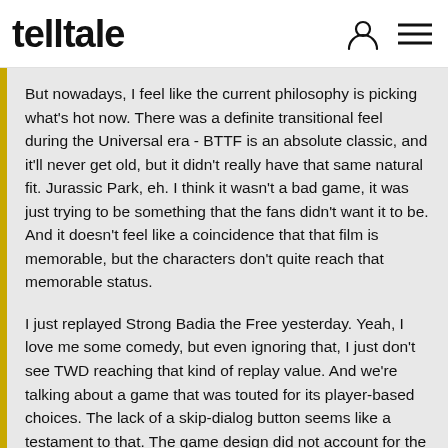telltale
But nowadays, I feel like the current philosophy is picking what's hot now. There was a definite transitional feel during the Universal era - BTTF is an absolute classic, and it'll never get old, but it didn't really have that same natural fit. Jurassic Park, eh. I think it wasn't a bad game, it was just trying to be something that the fans didn't want it to be. And it doesn't feel like a coincidence that that film is memorable, but the characters don't quite reach that memorable status.
I just replayed Strong Badia the Free yesterday. Yeah, I love me some comedy, but even ignoring that, I just don't see TWD reaching that kind of replay value. And we're talking about a game that was touted for its player-based choices. The lack of a skip-dialog button seems like a testament to that. The game design did not account for the kind of people who'd want to click on everything, just to hear what a